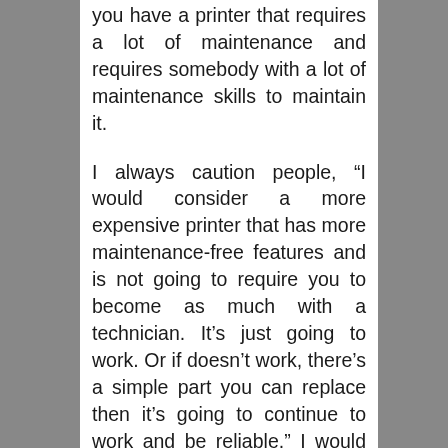you have a printer that requires a lot of maintenance and requires somebody with a lot of maintenance skills to maintain it.
I always caution people, “I would consider a more expensive printer that has more maintenance-free features and is not going to require you to become as much with a technician. It’s just going to work. Or if doesn’t work, there’s a simple part you can replace then it’s going to continue to work and be reliable.” I would tend to spend more money for reliability and advanced features, maintenance-free features, than I would a printer that’s going to require more skill to maintain.